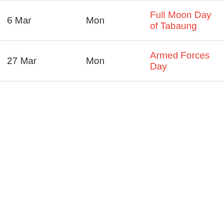| Date | Day | Holiday |
| --- | --- | --- |
| 6 Mar | Mon | Full Moon Day of Tabaung |
| 27 Mar | Mon | Armed Forces Day |
| 13 Apr to 16 Apr | Thu to Sun | Thingyan Water Festival |